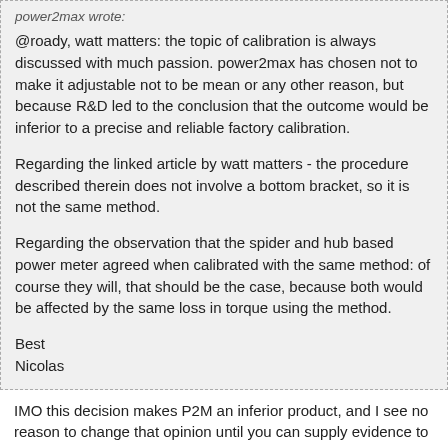power2max wrote:
@roady, watt matters: the topic of calibration is always discussed with much passion. power2max has chosen not to make it adjustable not to be mean or any other reason, but because R&D led to the conclusion that the outcome would be inferior to a precise and reliable factory calibration.

Regarding the linked article by watt matters - the procedure described therein does not involve a bottom bracket, so it is not the same method.

Regarding the observation that the spider and hub based power meter agreed when calibrated with the same method: of course they will, that should be the case, because both would be affected by the same loss in torque using the method.

Best
Nicolas
IMO this decision makes P2M an inferior product, and I see no reason to change that opinion until you can supply evidence to